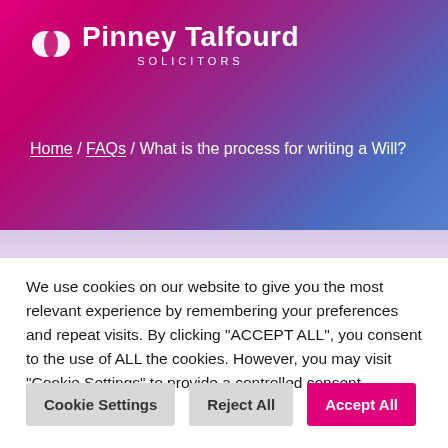[Figure (logo): Pinney Talfourd Solicitors logo with circular icon and white text on gradient pink-to-blue background]
Home / FAQs / What is the process for writing a Will?
We use cookies on our website to give you the most relevant experience by remembering your preferences and repeat visits. By clicking "ACCEPT ALL", you consent to the use of ALL the cookies. However, you may visit "Cookie Settings" to provide a controlled consent.